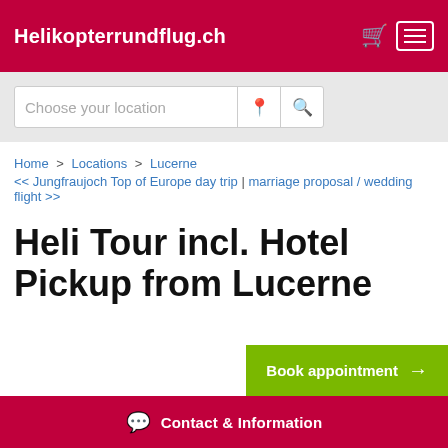Helikopterrundflug.ch
[Figure (screenshot): Search bar with placeholder 'Choose your location' and location pin and magnifying glass icons]
Home > Locations > Lucerne
<< Jungfraujoch Top of Europe day trip | marriage proposal / wedding flight >>
Heli Tour incl. Hotel Pickup from Lucerne
Book appointment →
Contact & Information